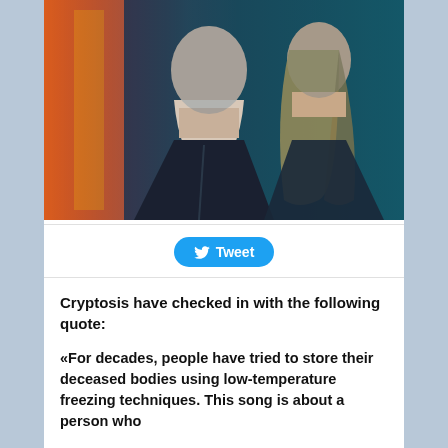[Figure (photo): Two people standing together — a bald man with a long beard wearing a dark jacket, and a woman with long blonde hair. The image has a teal/blue color treatment on the right and orange/warm tones on the left background.]
Tweet
Cryptosis have checked in with the following quote:
«For decades, people have tried to store their deceased bodies using low-temperature freezing techniques. This song is about a person who